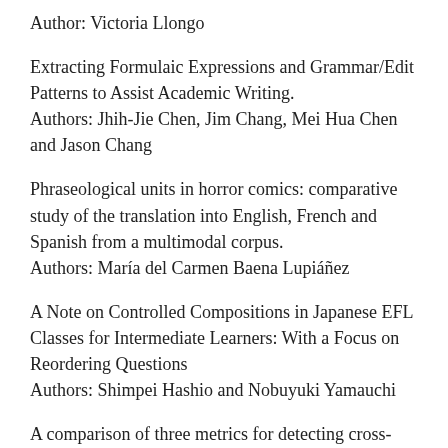Author: Victoria Llongo
Extracting Formulaic Expressions and Grammar/Edit Patterns to Assist Academic Writing.
Authors: Jhih-Jie Chen, Jim Chang, Mei Hua Chen and Jason Chang
Phraseological units in horror comics: comparative study of the translation into English, French and Spanish from a multimodal corpus.
Authors: María del Carmen Baena Lupiáñez
A Note on Controlled Compositions in Japanese EFL Classes for Intermediate Learners: With a Focus on Reordering Questions
Authors: Shimpei Hashio and Nobuyuki Yamauchi
A comparison of three metrics for detecting cross-linguistic variations of information volume and contrastive multiword